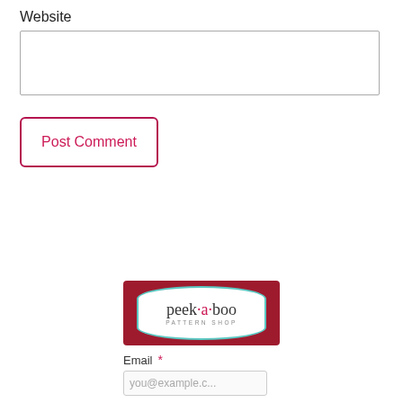Website
[Figure (screenshot): Website text input field, empty]
Post Comment
[Figure (logo): Peek-a-boo Pattern Shop logo on dark red background with teal-bordered white badge shape]
Email *
[Figure (screenshot): Email input field with placeholder text 'you@example.c...']